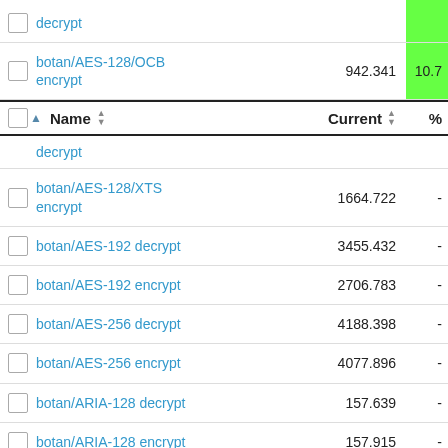|  | Name | Current | % |
| --- | --- | --- | --- |
| ☐ | decrypt (partial) | 942.341 (partial) | 10.7 (green) |
| ☐ | botan/AES-128/OCB encrypt | 942.341 | 10.7 |
| Header | Name | Current | % |
| ☐ | decrypt (partial) |  |  |
| ☐ | botan/AES-128/XTS encrypt | 1664.722 | - |
| ☐ | botan/AES-192 decrypt | 3455.432 | - |
| ☐ | botan/AES-192 encrypt | 2706.783 | - |
| ☐ | botan/AES-256 decrypt | 4188.398 | - |
| ☐ | botan/AES-256 encrypt | 4077.896 | - |
| ☐ | botan/ARIA-128 decrypt | 157.639 | - |
| ☐ | botan/ARIA-128 encrypt | 157.915 | - |
| ☐ | botan/ARIA-192 decrypt | 136.164 | - |